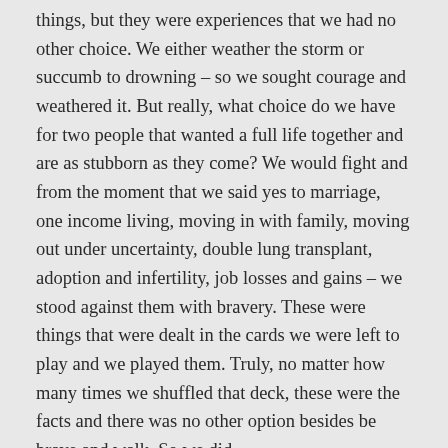things, but they were experiences that we had no other choice. We either weather the storm or succumb to drowning – so we sought courage and weathered it. But really, what choice do we have for two people that wanted a full life together and are as stubborn as they come? We would fight and from the moment that we said yes to marriage, one income living, moving in with family, moving out under uncertainty, double lung transplant, adoption and infertility, job losses and gains – we stood against them with bravery. These were things that were dealt in the cards we were left to play and we played them. Truly, no matter how many times we shuffled that deck, these were the facts and there was no other option besides be brave and walk. So we did.
However since January 2018, we have chosen to be brave. We have looked at things we had hoped for or even dreamt of – several of them seeming impossible. And if they weren't